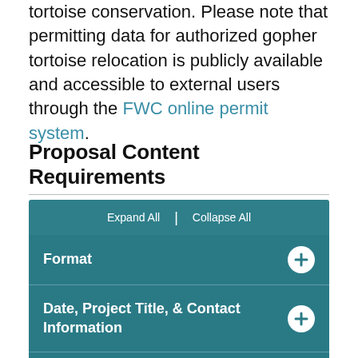tortoise conservation. Please note that permitting data for authorized gopher tortoise relocation is publicly available and accessible to external users through the FWC online permit system.
Proposal Content Requirements
Format
Date, Project Title, & Contact Information
Need for Research/Outreach